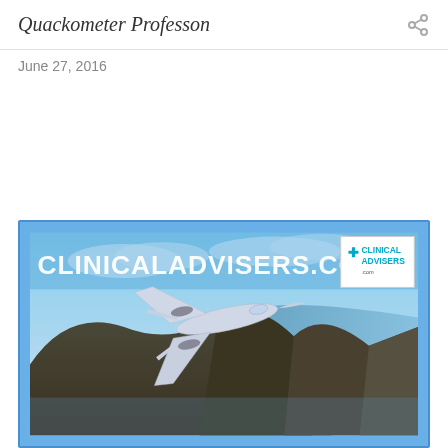Quackometer Professon
June 27, 2016
[Figure (photo): A private jet flying over mountainous coastal terrain with a blue sky background. An overlay banner reads CLINICALADVISERS.COM with a Clinical Advisers logo in the top-right corner of the image.]